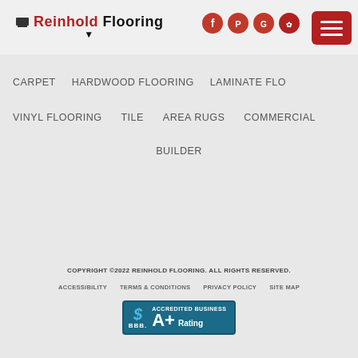[Figure (logo): Reinhold Flooring logo with social media icons (Facebook, Pinterest, Google, Yelp) and hamburger menu button]
CARPET  HARDWOOD FLOORING  LAMINATE FLO...  VINYL FLOORING  TILE  AREA RUGS  COMMERCIAL  BUILDER
COPYRIGHT © 2022 REINHOLD FLOORING. ALL RIGHTS RESERVED.
ACCESSIBILITY
TERMS & CONDITIONS
PRIVACY POLICY
SITE MAP
[Figure (logo): BBB Accredited Business A+ Rating badge]